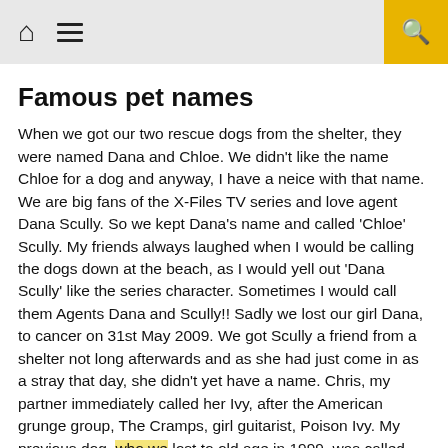[home icon] [menu icon] [search icon]
Famous pet names
When we got our two rescue dogs from the shelter, they were named Dana and Chloe. We didn't like the name Chloe for a dog and anyway, I have a neice with that name. We are big fans of the X-Files TV series and love agent Dana Scully. So we kept Dana's name and called 'Chloe' Scully. My friends always laughed when I would be calling the dogs down at the beach, as I would yell out 'Dana Scully' like the series character. Sometimes I would call them Agents Dana and Scully!! Sadly we lost our girl Dana, to cancer on 31st May 2009. We got Scully a friend from a shelter not long afterwards and as she had just come in as a stray that day, she didn't yet have a name. Chris, my partner immediately called her Ivy, after the American grunge group, The Cramps, girl guitarist, Poison Ivy. My previous dog, who we lost to old age in 1999, was called Iggy Pop, (sometimes he